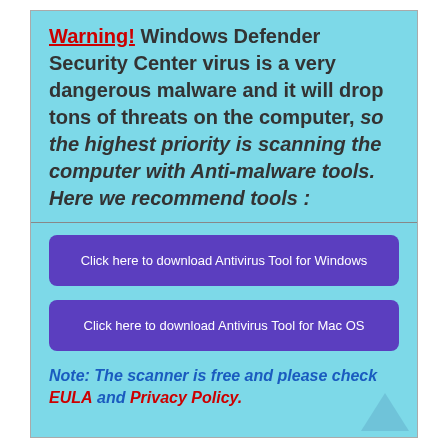Warning! Windows Defender Security Center virus is a very dangerous malware and it will drop tons of threats on the computer, so the highest priority is scanning the computer with Anti-malware tools. Here we recommend tools :
Click here to download Antivirus Tool for Windows
Click here to download Antivirus Tool for Mac OS
Note: The scanner is free and please check EULA and Privacy Policy.